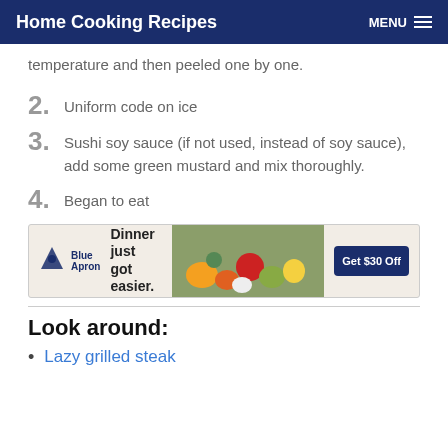Home Cooking Recipes | MENU
temperature and then peeled one by one.
2. Uniform code on ice
3. Sushi soy sauce (if not used, instead of soy sauce), add some green mustard and mix thoroughly.
4. Began to eat
[Figure (other): Blue Apron advertisement banner: 'Dinner just got easier.' with food photo and 'Get $30 Off' button]
Look around:
Lazy grilled steak